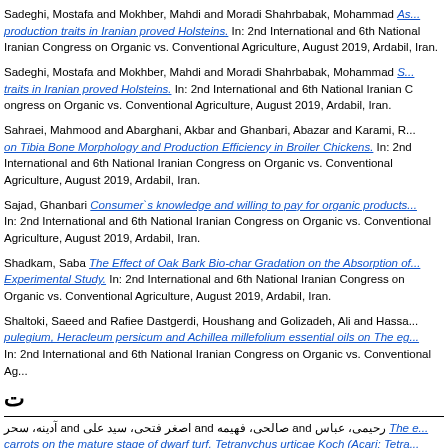Sadeghi, Mostafa and Mokhber, Mahdi and Moradi Shahrbabak, Mohammad [link: As...production traits in Iranian proved Holsteins.] In: 2nd International and 6th National Iranian Congress on Organic vs. Conventional Agriculture, August 2019, Ardabil, Iran.
Sadeghi, Mostafa and Mokhber, Mahdi and Moradi Shahrbabak, Mohammad [link: S...traits in Iranian proved Holsteins.] In: 2nd International and 6th National Iranian Congress on Organic vs. Conventional Agriculture, August 2019, Ardabil, Iran.
Sahraei, Mahmood and Abarghani, Akbar and Ghanbari, Abazar and Karami, R... [link: on Tibia Bone Morphology and Production Efficiency in Broiler Chickens.] In: 2nd International and 6th National Iranian Congress on Organic vs. Conventional Agriculture, August 2019, Ardabil, Iran.
Sajad, Ghanbari [link: Consumer's knowledge and willing to pay for organic products...] In: 2nd International and 6th National Iranian Congress on Organic vs. Conventional Agriculture, August 2019, Ardabil, Iran.
Shadkam, Saba [link: The Effect of Oak Bark Bio-char Gradation on the Absorption of...Experimental Study.] In: 2nd International and 6th National Iranian Congress on Organic vs. Conventional Agriculture, August 2019, Ardabil, Iran.
Shaltoki, Saeed and Rafiee Dastgerdi, Houshang and Golizadeh, Ali and Hassan... [link: pulegium, Heracleum persicum and Achillea millefolium essential oils on The eg...] In: 2nd International and 6th National Iranian Congress on Organic vs. Conventional Agriculture, August 2019, Ardabil, Iran.
ت
رحیمی، عباس and صالحی، فهیمه and اصغر فتحی، سید علی and آدینه، سحر [link: The e...carrots on the mature stage of dwarf turf, Tetranychus urticae Koch (Acari: Tetra...] In: 2nd International and 6th National Iranian Congress on Organic vs. Conventional Agriculture, August 2019, Ardabil, Iran.
بیر احمد، نهیم and رنیاهنبا، احمد and اطهرى، موردى and آزاروں، الوام [link: Effect of T...]